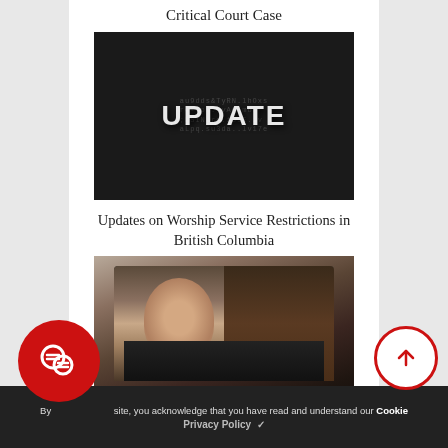Critical Court Case
[Figure (photo): Dark background image with scattered letters/characters and the word UPDATE in large bold white text in the center]
Updates on Worship Service Restrictions in British Columbia
[Figure (photo): Photo of a person (man with glasses in dark jacket) on a laptop screen, with bookshelves visible in the background]
By using this site, you acknowledge that you have read and understand our Cookie Privacy Policy ✓